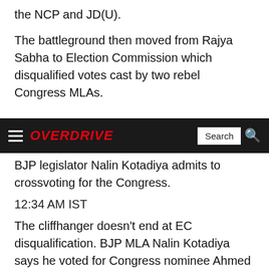the NCP and JD(U).
The battleground then moved from Rajya Sabha to Election Commission which disqualified votes cast by two rebel Congress MLAs.
[Figure (screenshot): OVERDRIVE website navigation bar with hamburger menu, OVERDRIVE logo in red italic, and Search box with magnifying glass icon on dark/black background]
BJP legislator Nalin Kotadiya admits to crossvoting for the Congress.
12:34 AM IST
The cliffhanger doesn't end at EC disqualification. BJP MLA Nalin Kotadiya says he voted for Congress nominee Ahmed Patel, in a Facebook post. This is likely to tilt the scales in favour of Patel.
12:31 AM IST